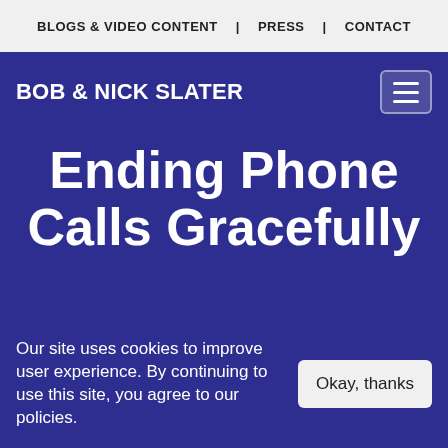BLOGS & VIDEO CONTENT | PRESS | CONTACT
BOB & NICK SLATER
Ending Phone Calls Gracefully
Our site uses cookies to improve user experience. By continuing to use this site, you agree to our policies.
Okay, thanks